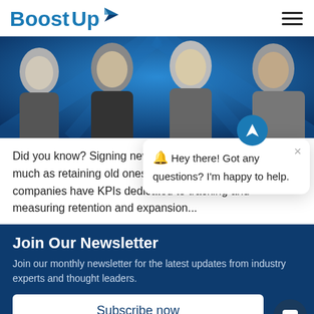BoostUp
[Figure (photo): Group photo of four people (two women, two men) shown from shoulders up against a blue background with radial light effect, in black and white]
Did you know? Signing new customers costs five times as much as retaining old ones? That's why most B2B SaaS companies have KPIs dedicated to tracking and measuring retention and expansion...
Join Our Newsletter
Join our monthly newsletter for the latest updates from industry experts and thought leaders.
Subscribe now
[Figure (screenshot): Chat popup overlay showing a navigation/location arrow icon and message: 'Hey there! Got any questions? I'm happy to help.' with an X close button, and a dark chat bubble icon in the bottom right corner]